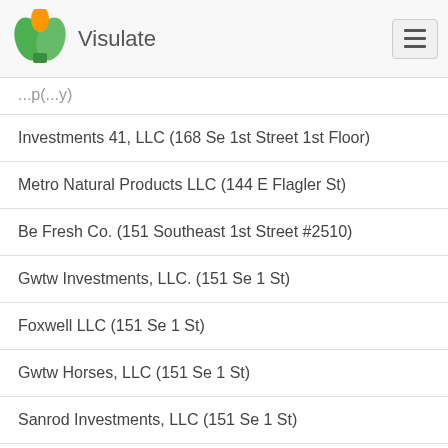Visulate
Investments 41, LLC (168 Se 1st Street 1st Floor)
Metro Natural Products LLC (144 E Flagler St)
Be Fresh Co. (151 Southeast 1st Street #2510)
Gwtw Investments, LLC. (151 Se 1 St)
Foxwell LLC (151 Se 1 St)
Gwtw Horses, LLC (151 Se 1 St)
Sanrod Investments, LLC (151 Se 1 St)
1511 Investments, LLC (151 Se 1 St)
Sanrod 2 Investments, LLC (151 Se 1 St)